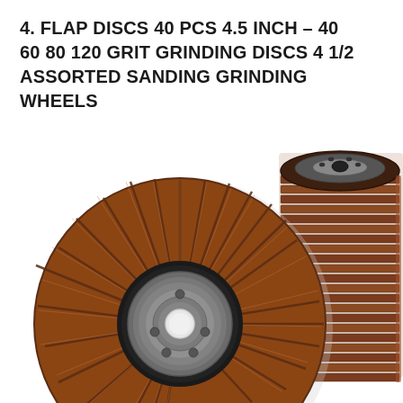4. FLAP DISCS 40 PCS 4.5 INCH – 40 60 80 120 GRIT GRINDING DISCS 4 1/2 ASSORTED SANDING GRINDING WHEELS
[Figure (photo): Product photo showing two flap disc sanding/grinding wheels. On the left, a single flap disc viewed from the front face showing reddish-brown abrasive flaps arranged radially around a dark center hub with a grey metal backing plate with a central hole and mounting holes. On the right, a tall stack of multiple flap discs viewed from the side, showing the layered abrasive flaps stacked together, with the topmost disc showing its metal backing plate and central arbor hole.]